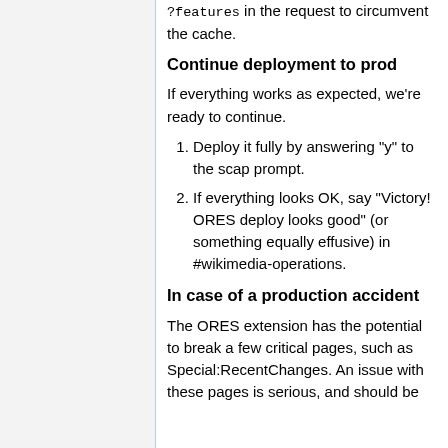?features in the request to circumvent the cache.
Continue deployment to prod
If everything works as expected, we're ready to continue.
Deploy it fully by answering "y" to the scap prompt.
If everything looks OK, say "Victory! ORES deploy looks good" (or something equally effusive) in #wikimedia-operations.
In case of a production accident
The ORES extension has the potential to break a few critical pages, such as Special:RecentChanges. An issue with these pages is serious, and should be